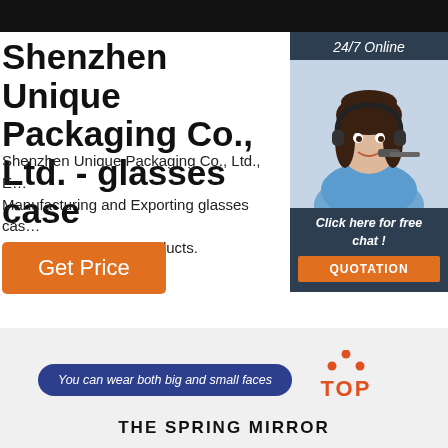Shenzhen Unique Packaging Co., Ltd. - glasses case
Shenzhen Unique Packaging Co., Ltd., Expert in Manufacturing and Exporting glasses case, glasses case and 305 more Products.
[Figure (screenshot): Orange 'Get Price' button]
[Figure (photo): Customer service representative wearing headset with '24/7 Online' header, 'Click here for free chat!' text and orange QUOTATION button]
You can wear both big and small faces
[Figure (logo): TOP logo with orange dots forming a house/arrow shape above the word TOP in orange]
THE SPRING MIRROR